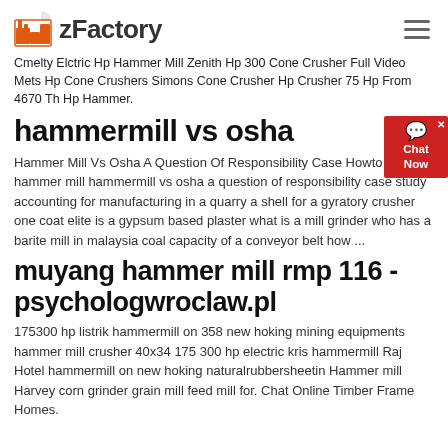zFactory
Cmelty Elctric Hp Hammer Mill Zenith Hp 300 Cone Crusher Full Video Mets Hp Cone Crushers Simons Cone Crusher Hp Crusher 75 Hp From 4670 Th Hp Hammer.
hammermill vs osha
Hammer Mill Vs Osha A Question Of Responsibility Case Howto build a hammer mill hammermill vs osha a question of responsibility case study accounting for manufacturing in a quarry a shell for a gyratory crusher one coat elite is a gypsum based plaster what is a mill grinder who has a barite mill in malaysia coal capacity of a conveyor belt how ...
muyang hammer mill rmp 116 - psychologwroclaw.pl
175300 hp listrik hammermill on 358 new hoking mining equipments hammer mill crusher 40x34 175 300 hp electric kris hammermill Raj Hotel hammermill on new hoking naturalrubbersheetin Hammer mill Harvey corn grinder grain mill feed mill for. Chat Online Timber Frame Homes.